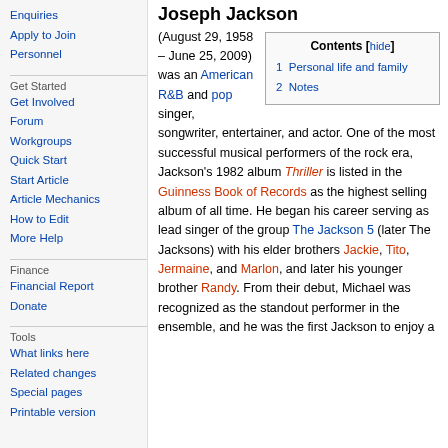Enquiries
Apply to Join
Personnel
Get Started
Get Involved
Forum
Workgroups
Quick Start
Start Article
Article Mechanics
How to Edit
More Help
Finance
Financial Report
Donate
Tools
What links here
Related changes
Special pages
Printable version
Joseph Jackson
| Contents | [hide] |
| --- | --- |
| 1 | Personal life and family |
| 2 | Notes |
(August 29, 1958 – June 25, 2009) was an American R&B and pop singer, songwriter, entertainer, and actor. One of the most successful musical performers of the rock era, Jackson's 1982 album Thriller is listed in the Guinness Book of Records as the highest selling album of all time. He began his career serving as lead singer of the group The Jackson 5 (later The Jacksons) with his elder brothers Jackie, Tito, Jermaine, and Marlon, and later his younger brother Randy. From their debut, Michael was recognized as the standout performer in the ensemble, and he was the first Jackson to enjoy a